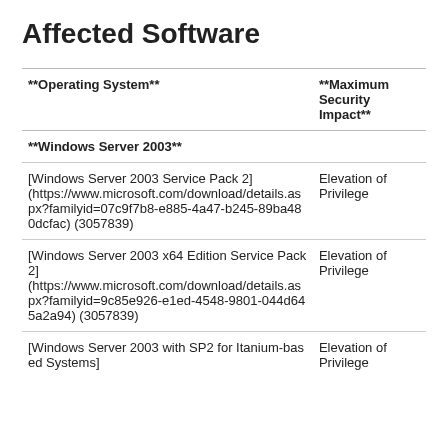Affected Software
| Operating System | Maximum Security Impact |
| --- | --- |
| Windows Server 2003 |  |
| [Windows Server 2003 Service Pack 2](https://www.microsoft.com/download/details.aspx?familyid=07c9f7b8-e885-4a47-b245-89ba480dcfac) (3057839) | Elevation of Privilege |
| [Windows Server 2003 x64 Edition Service Pack 2](https://www.microsoft.com/download/details.aspx?familyid=9c85e926-e1ed-4548-9801-044d645a2a94) (3057839) | Elevation of Privilege |
| [Windows Server 2003 with SP2 for Itanium-based Systems] | Elevation of Privilege |